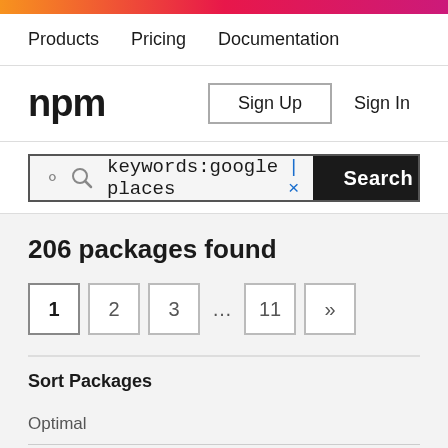Products  Pricing  Documentation
[Figure (logo): npm logo - bold black text]
Sign Up  Sign In
keywords:google places × Search
206 packages found
1  2  3  ...  11  »
Sort Packages
Optimal
Popularity